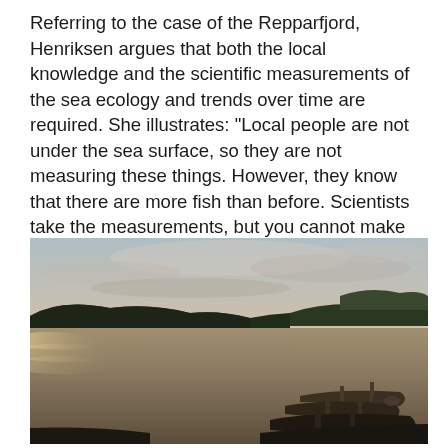Referring to the case of the Repparfjord, Henriksen argues that both the local knowledge and the scientific measurements of the sea ecology and trends over time are required. She illustrates: "Local people are not under the sea surface, so they are not measuring these things. However, they know that there are more fish than before. Scientists take the measurements, but you cannot make decisions based on only that."
[Figure (photo): A photograph of a calm fjord at dusk/sunset with reflective water surface, low hills covered in dark vegetation on both sides, a pale peach and grey cloudy sky, and several small wooden fishing boats moored in the lower right foreground.]